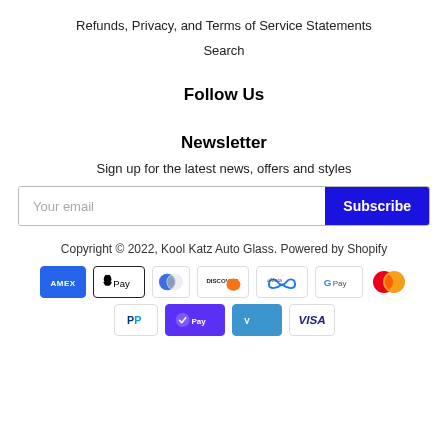Refunds, Privacy, and Terms of Service Statements
Search
Follow Us
Newsletter
Sign up for the latest news, offers and styles
Your email
Subscribe
Copyright © 2022, Kool Katz Auto Glass. Powered by Shopify
[Figure (other): Payment method icons: American Express, Apple Pay, Diners Club, Discover, Meta Pay, Google Pay, Mastercard, PayPal, Shop Pay, Venmo, Visa]